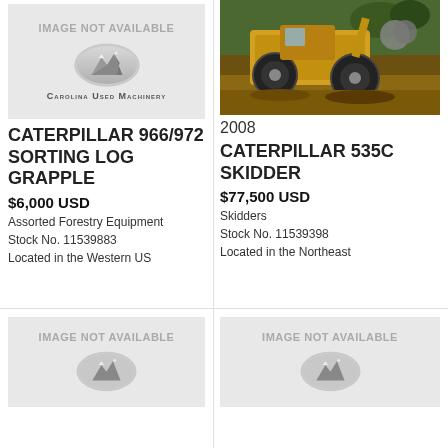[Figure (logo): Image not available placeholder with Carolina Used Machinery mountain logo and brand name]
CATERPILLAR 966/972 SORTING LOG GRAPPLE
$6,000 USD
Assorted Forestry Equipment
Stock No. 11539883
Located in the Western US
[Figure (photo): Photo of 2008 Caterpillar 535C Skidder in field]
2008 CATERPILLAR 535C SKIDDER
$77,500 USD
Skidders
Stock No. 11539398
Located in the Northeast
[Figure (logo): Image not available placeholder with mountain logo]
[Figure (logo): Image not available placeholder with mountain logo]